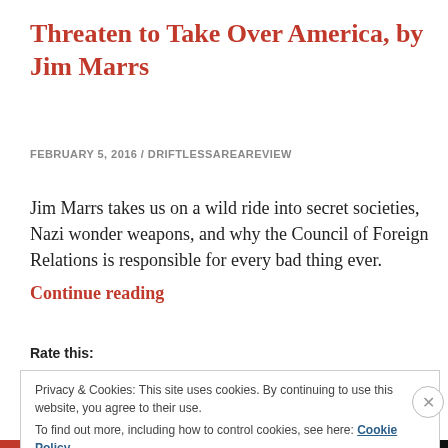Threaten to Take Over America, by Jim Marrs
FEBRUARY 5, 2016 / DRIFTLESSAREAREVIEW
Jim Marrs takes us on a wild ride into secret societies, Nazi wonder weapons, and why the Council of Foreign Relations is responsible for every bad thing ever.
Continue reading
Rate this:
Privacy & Cookies: This site uses cookies. By continuing to use this website, you agree to their use.
To find out more, including how to control cookies, see here: Cookie Policy
Close and accept